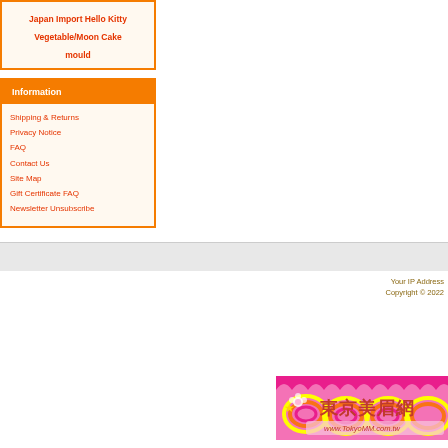Japan Import Hello Kitty Vegetable/Moon Cake mould
Information
Shipping & Returns
Privacy Notice
FAQ
Contact Us
Site Map
Gift Certificate FAQ
Newsletter Unsubscribe
Your IP Address
Copyright © 2022
[Figure (logo): Tokyo MM (東京美眉網) banner logo with floral rainbow decorative design and URL www.TokyoMM.com.tw]